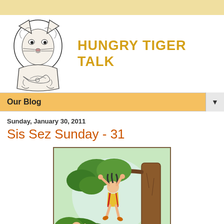[Figure (illustration): Top decorative bar in pale yellow/tan color]
[Figure (illustration): Blog header with black-and-white sketch of a tiger and a bow/ribbon illustration on the left, and the blog title 'Hungry Tiger Talk' in large bold golden yellow uppercase text on the right]
Our Blog
Sunday, January 30, 2011
Sis Sez Sunday - 31
[Figure (illustration): Comic/cartoon illustration in a bordered frame showing a child in a yellow outfit hanging from a tree branch, with another figure below looking up in shock or surprise, set in a green jungle/forest background with a brown tree trunk on the right]